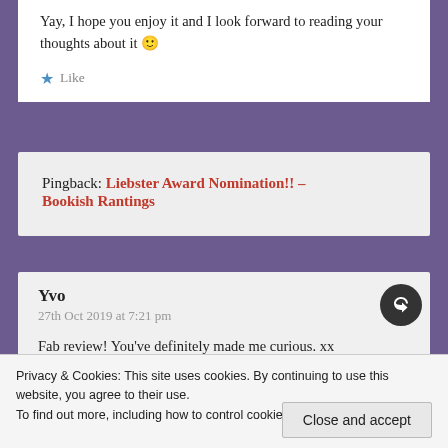Yay, I hope you enjoy it and I look forward to reading your thoughts about it 🙂
Like
Pingback: Liebster Award Nomination!! – Bookish Rantings
Yvo
27th Oct 2019 at 7:21 pm
Fab review! You've definitely made me curious. xx
Privacy & Cookies: This site uses cookies. By continuing to use this website, you agree to their use.
To find out more, including how to control cookies, see here: Cookie Policy
Close and accept